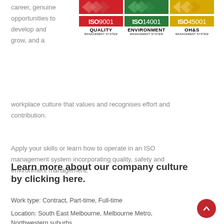career, genuine opportunities to develop and grow, and a workplace culture that values and recognises effort and contribution.
[Figure (logo): Three ISO certification logos: ISO 9001 Quality Management System (red), ISO 14001 Environment Management System (green), ISO 45001 OH&S Management System (yellow)]
Apply your skills or learn how to operate in an ISO management system incorporating quality, safety and environment management.
Learn more about our company culture by clicking here.
Work type: Contract, Part-time, Full-time
Location: South East Melbourne, Melbourne Metro, Northwestern suburbs